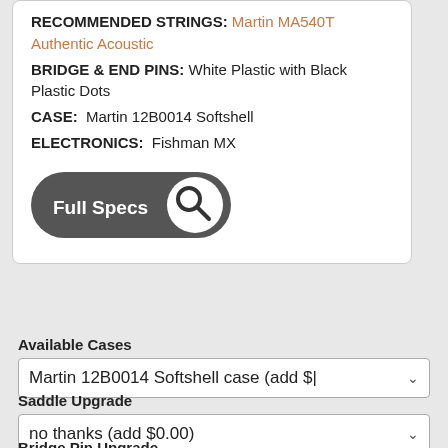RECOMMENDED STRINGS: Martin MA540T Authentic Acoustic
BRIDGE & END PINS: White Plastic with Black Plastic Dots
CASE: Martin 12B0014 Softshell
ELECTRONICS: Fishman MX
[Figure (other): Full Specs button with magnifying glass icon]
Available Cases
Martin 12B0014 Softshell case (add $...
Saddle Upgrade
no thanks (add $0.00)
Bridge Pin Upgrade
no thanks (add $0.00)